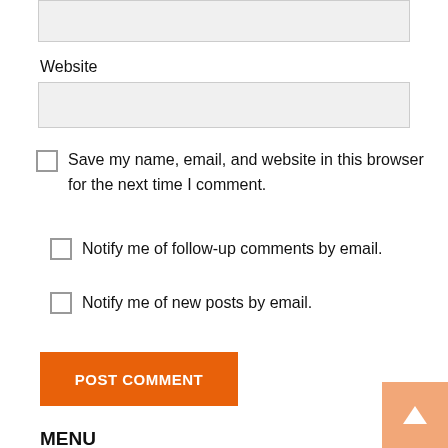Website
Save my name, email, and website in this browser for the next time I comment.
Notify me of follow-up comments by email.
Notify me of new posts by email.
POST COMMENT
MENU
Guides
Gaming
Entertainment
Reviews